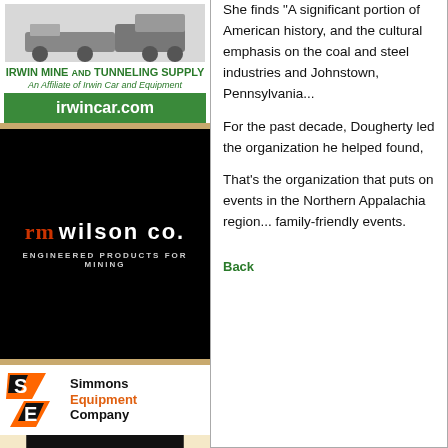[Figure (illustration): Irwin Mine and Tunneling Supply advertisement with mining machinery image, company name, affiliate tagline, and green irwincar.com web banner]
[Figure (logo): RM Wilson Co. advertisement on black background - Engineered Products For Mining]
[Figure (illustration): Simmons Equipment Company advertisement with orange S/E logo and underground mine photo]
She finds "A significant portion of American history, and the cultural emphasis on the coal and steel industries and Johnstown, Pennsylvania...
For the past decade, Dougherty led the organization he helped found,
That's the organization that puts on events in the Northern Appalachia region... family-friendly events.
Back